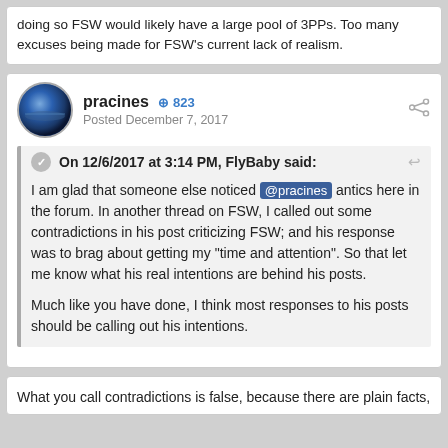doing so FSW would likely have a large pool of 3PPs. Too many excuses being made for FSW's current lack of realism.
pracines +823 Posted December 7, 2017
On 12/6/2017 at 3:14 PM, FlyBaby said:
I am glad that someone else noticed @pracines antics here in the forum. In another thread on FSW, I called out some contradictions in his post criticizing FSW; and his response was to brag about getting my "time and attention". So that let me know what his real intentions are behind his posts.

Much like you have done, I think most responses to his posts should be calling out his intentions.
What you call contradictions is false, because there are plain facts,